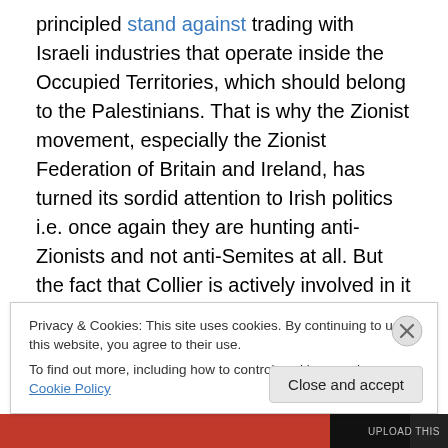principled stand against trading with Israeli industries that operate inside the Occupied Territories, which should belong to the Palestinians. That is why the Zionist movement, especially the Zionist Federation of Britain and Ireland, has turned its sordid attention to Irish politics i.e. once again they are hunting anti-Zionists and not anti-Semites at all. But the fact that Collier is actively involved in it is totally incongruous. (Or at least it would be if his excuse in the video had fooled anybody.) He says he only takes responsibility for fighting anti-Semitism he sees in groups of which he is already a member, right?
Privacy & Cookies: This site uses cookies. By continuing to use this website, you agree to their use.
To find out more, including how to control cookies, see here: Cookie Policy